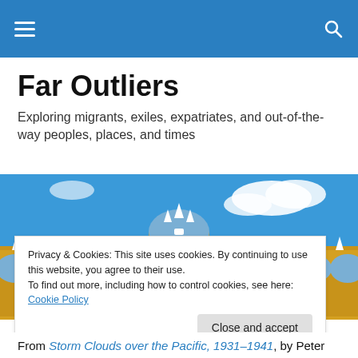Far Outliers — site navigation header bar
Far Outliers
Exploring migrants, exiles, expatriates, and out-of-the-way peoples, places, and times
[Figure (photo): Photo of a yellow colonial building with white arched colonnades and decorative spires against a blue sky with white clouds]
Privacy & Cookies: This site uses cookies. By continuing to use this website, you agree to their use.
To find out more, including how to control cookies, see here: Cookie Policy
From Storm Clouds over the Pacific, 1931–1941, by Peter